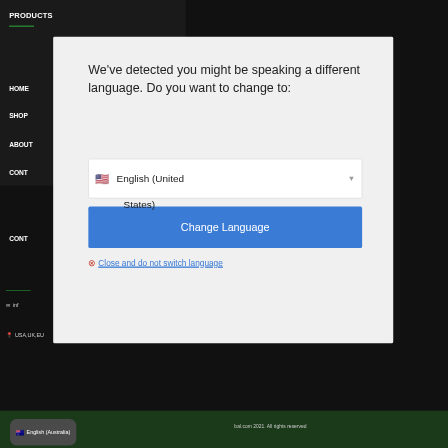PRODUCTS
HOME
SHOP
ABOUT
CONT
CONT
We've detected you might be speaking a different language. Do you want to change to:
English (United States)
Change Language
Close and do not switch language
info
USA,UK,EU
English (Australia)
bal.com 2021. All rights reserved